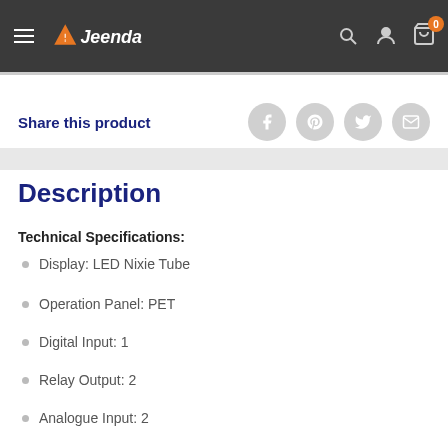[Figure (logo): Jeenda website header with hamburger menu, Jeenda logo (orange triangle/road icon with white text), and icons for search, account, and cart (badge showing 0)]
Share this product
Description
Technical Specifications:
Display: LED Nixie Tube
Operation Panel: PET
Digital Input: 1
Relay Output: 2
Analogue Input: 2